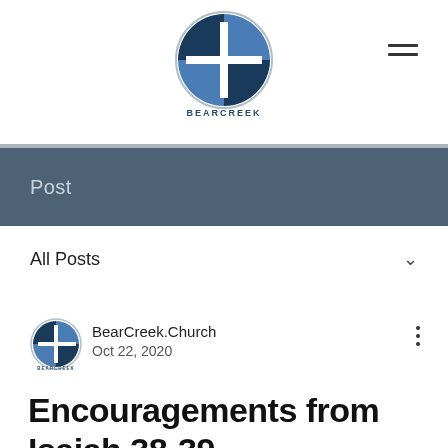[Figure (logo): BearCreek Church logo — circular emblem with a cross and blue quadrants, with 'BEARCREEK' text below]
Post
All Posts
[Figure (logo): Small BearCreek Church circular logo icon]
BearCreek.Church
Oct 22, 2020
Encouragements from Isaiah 38-39